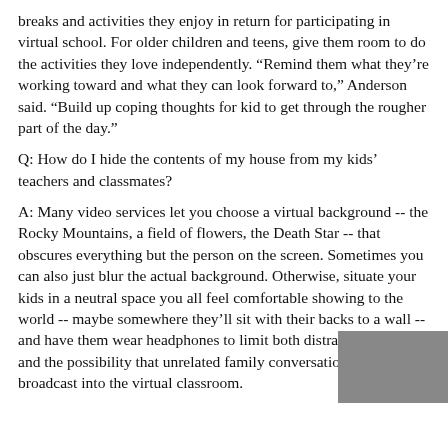breaks and activities they enjoy in return for participating in virtual school. For older children and teens, give them room to do the activities they love independently. “Remind them what they’re working toward and what they can look forward to,” Anderson said. “Build up coping thoughts for kid to get through the rougher part of the day.”
Q: How do I hide the contents of my house from my kids’ teachers and classmates?
A: Many video services let you choose a virtual background -- the Rocky Mountains, a field of flowers, the Death Star -- that obscures everything but the person on the screen. Sometimes you can also just blur the actual background. Otherwise, situate your kids in a neutral space you all feel comfortable showing to the world -- maybe somewhere they’ll sit with their backs to a wall -- and have them wear headphones to limit both distracting noises and the possibility that unrelated family conversations might broadcast into the virtual classroom.